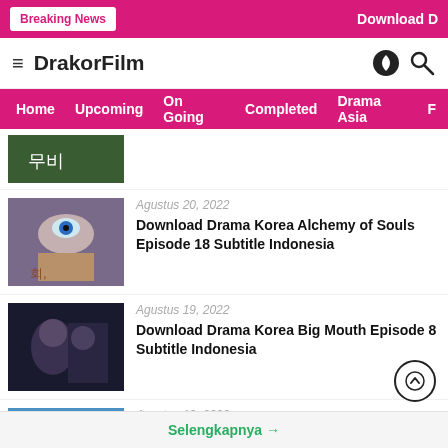Breaking News | Download D
DrakorFilm
Home  Upcoming  On Going  Completed  Drama Asia  F
[Figure (screenshot): Partially visible thumbnail of Korean drama content with Korean text]
Agustus 20, 2022
Download Drama Korea Alchemy of Souls Episode 18 Subtitle Indonesia
[Figure (photo): Thumbnail for Alchemy of Souls drama - close up of a hand with blue eye visible]
Agustus 19, 2022
Download Drama Korea Big Mouth Episode 8 Subtitle Indonesia
[Figure (photo): Thumbnail for Big Mouth drama - dark moody image with characters]
Agustus 19, 2022
Download Drama Korea Today’s Webtoon Episode 8 Subtitle Indonesia
[Figure (photo): Thumbnail for Today's Webtoon - group of people on blue background with Korean text]
Selengkapnya →